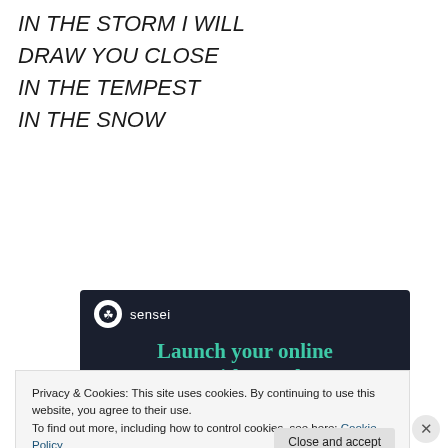IN THE STORM I WILL
DRAW YOU CLOSE
IN THE TEMPEST
IN THE SNOW
[Figure (other): Sensei advertisement banner with dark navy background. Shows Sensei logo (tree icon in white circle) and brand name 'sensei'. Main text: 'Launch your online course with WordPress' in teal/green serif font. A teal rounded button reads 'Learn More'.]
Privacy & Cookies: This site uses cookies. By continuing to use this website, you agree to their use.
To find out more, including how to control cookies, see here: Cookie Policy
Close and accept